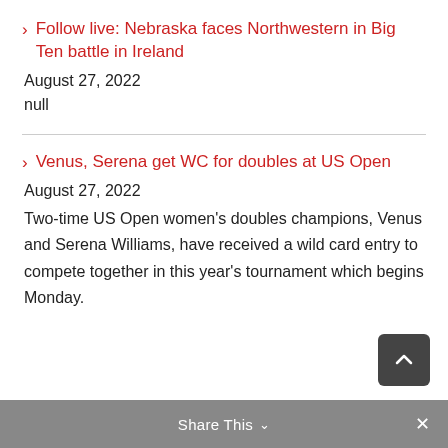Follow live: Nebraska faces Northwestern in Big Ten battle in Ireland
August 27, 2022
null
Venus, Serena get WC for doubles at US Open
August 27, 2022
Two-time US Open women's doubles champions, Venus and Serena Williams, have received a wild card entry to compete together in this year's tournament which begins Monday.
Share This ∨  ✕